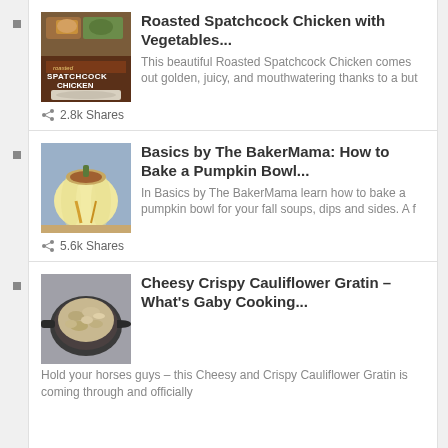Roasted Spatchcock Chicken with Vegetables... This beautiful Roasted Spatchcock Chicken comes out golden, juicy, and mouthwatering thanks to a but | 2.8k Shares
Basics by The BakerMama: How to Bake a Pumpkin Bowl... In Basics by The BakerMama learn how to bake a pumpkin bowl for your fall soups, dips and sides. A f | 5.6k Shares
Cheesy Crispy Cauliflower Gratin – What's Gaby Cooking... Hold your horses guys – this Cheesy and Crispy Cauliflower Gratin is coming through and officially